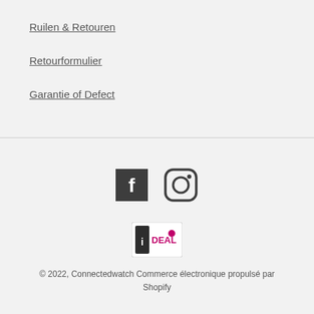Ruilen & Retouren
Retourformulier
Garantie of Defect
[Figure (logo): Facebook icon (dark square with white F) and Instagram icon (circle outline with camera shape)]
[Figure (logo): iDEAL payment logo — white rectangle with iDEAL branding in pink/magenta]
© 2022, Connectedwatch Commerce électronique propulsé par Shopify